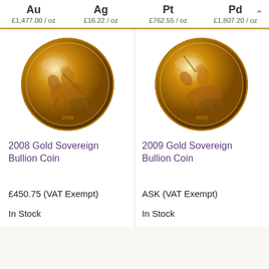Au £1,477.00 / oz   Ag £16.22 / oz   Pt £762.55 / oz   Pd £1,807.20 / oz
[Figure (photo): 2008 Gold Sovereign Bullion Coin — gold coin showing St George slaying the dragon on horseback]
2008 Gold Sovereign Bullion Coin
£450.75 (VAT Exempt)
In Stock
[Figure (photo): 2009 Gold Sovereign Bullion Coin — gold coin showing St George slaying the dragon on horseback]
2009 Gold Sovereign Bullion Coin
ASK (VAT Exempt)
In Stock